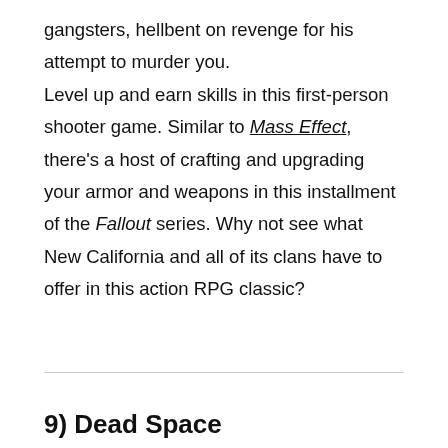gangsters, hellbent on revenge for his attempt to murder you.

Level up and earn skills in this first-person shooter game. Similar to Mass Effect, there's a host of crafting and upgrading your armor and weapons in this installment of the Fallout series. Why not see what New California and all of its clans have to offer in this action RPG classic?
9) Dead Space